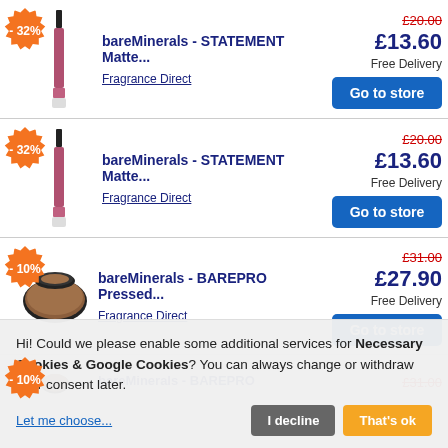-32% bareMinerals - STATEMENT Matte... £20.00 £13.60 Free Delivery Fragrance Direct Go to store
-32% bareMinerals - STATEMENT Matte... £20.00 £13.60 Free Delivery Fragrance Direct Go to store
-10% bareMinerals - BAREPRO Pressed... £31.00 £27.90 Free Delivery Fragrance Direct Go to store
-10% bareMinerals - BAREPRO... £31.00
Hi! Could we please enable some additional services for Necessary Cookies & Google Cookies? You can always change or withdraw your consent later. Let me choose... I decline That's ok